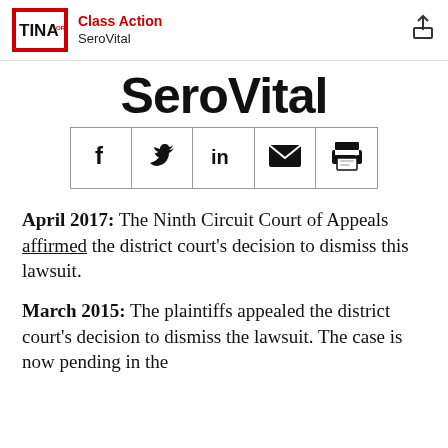Class Action | SeroVital
SeroVital
[Figure (other): Social share icons bar with Facebook, Twitter, LinkedIn, Email, and Print icons in a bordered grid]
April 2017: The Ninth Circuit Court of Appeals affirmed the district court's decision to dismiss this lawsuit.
March 2015: The plaintiffs appealed the district court's decision to dismiss the lawsuit. The case is now pending in the